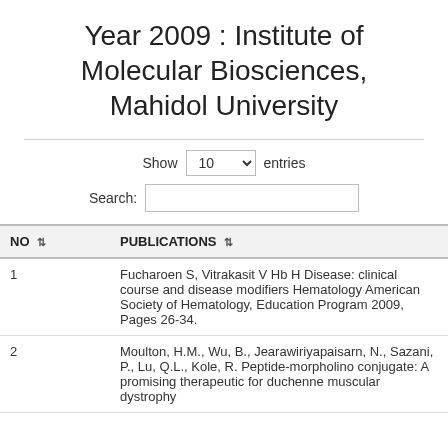Year 2009 : Institute of Molecular Biosciences, Mahidol University
Show 10 entries
Search:
| NO | PUBLICATIONS |
| --- | --- |
| 1 | Fucharoen S, Vitrakasit V Hb H Disease: clinical course and disease modifiers Hematology American Society of Hematology, Education Program 2009, Pages 26-34. |
| 2 | Moulton, H.M., Wu, B., Jearawiriyapaisarn, N., Sazani, P., Lu, Q.L., Kole, R. Peptide-morpholino conjugate: A promising therapeutic for duchenne muscular dystrophy |